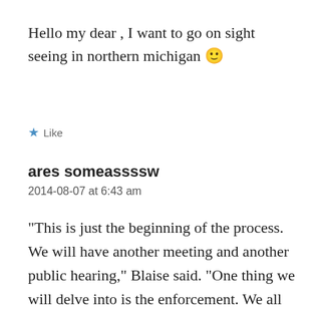Hello my dear , I want to go on sight seeing in northern michigan 🙂
Like
ares someasss​sw
2014-08-07 at 6:43 am
“This is just the beginning of the process. We will have another meeting and another public hearing,” Blaise said. “One thing we will delve into is the enforcement. We all know that it is key. It is key for any ordinance. How we do it we will have to